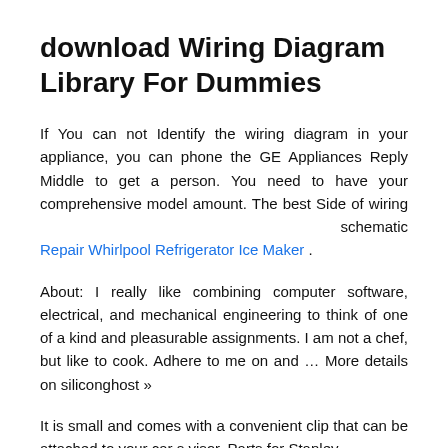download Wiring Diagram Library For Dummies
If You can not Identify the wiring diagram in your appliance, you can phone the GE Appliances Reply Middle to get a person. You need to have your comprehensive model amount. The best Side of wiring                                                                schematic Repair Whirlpool Refrigerator Ice Maker .
About: I really like combining computer software, electrical, and mechanical engineering to think of one of a kind and pleasurable assignments. I am not a chef, but like to cook. Adhere to me on and … More details on siliconghost »
It is small and comes with a convenient clip that can be attached to your car s visor. Parts for Stanley